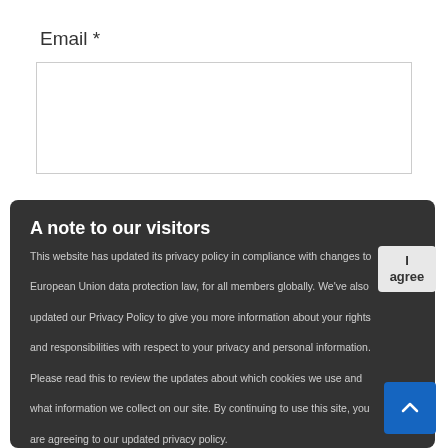Email *
Website
Save my name, email, and website in this browser for the next time I comment.
A note to our visitors
This website has updated its privacy policy in compliance with changes to European Union data protection law, for all members globally. We've also updated our Privacy Policy to give you more information about your rights and responsibilities with respect to your privacy and personal information. Please read this to review the updates about which cookies we use and what information we collect on our site. By continuing to use this site, you are agreeing to our updated privacy policy.
I agree
Post Comment